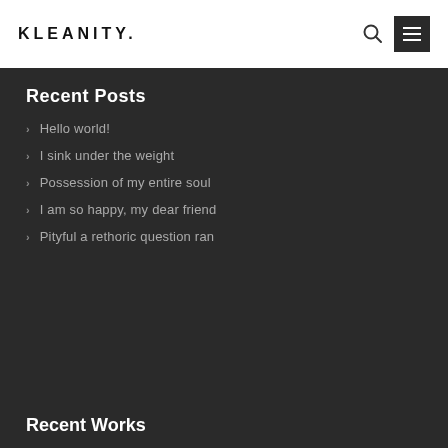KLEANITY.
Recent Posts
Hello world!
I sink under the weight
Possession of my entire soul
I am so happy, my dear friend
Pityful a rethoric question ran
Recent Works